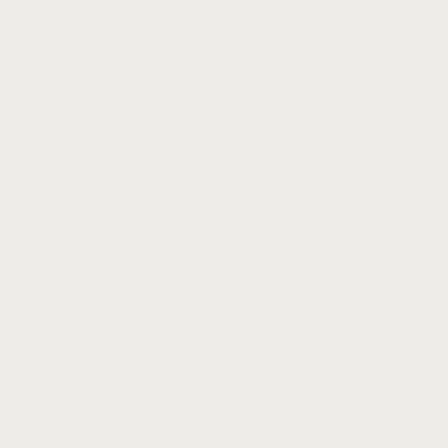bec
tota
abs
in
the
I
fini
Fo
in
Exi
just
hab
an
hou
ago
and
am
alre
loo
at
my
oth
title